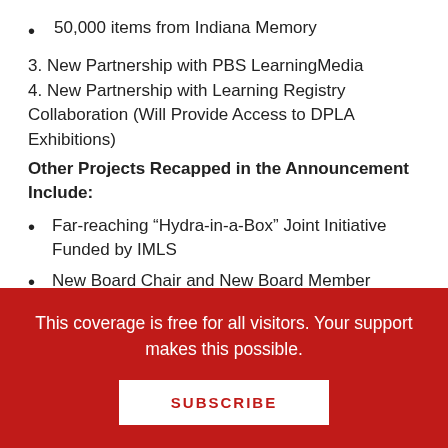50,000 items from Indiana Memory
3. New Partnership with PBS LearningMedia
4. New Partnership with Learning Registry Collaboration (Will Provide Access to DPLA Exhibitions)
Other Projects Recapped in the Announcement Include:
Far-reaching “Hydra-in-a-Box” Joint Initiative Funded by IMLS
New Board Chair and New Board Member Announced
Collaboration with...
This coverage is free for all visitors. Your support makes this possible.
SUBSCRIBE